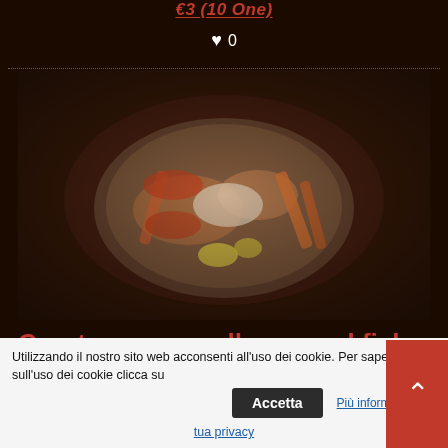€3 (10 One)
♥ 0
[Figure (photo): A plate of steamed crustaceans, molluscs, fish fillets and vegetables on a white plate, photographed from above in a dark-toned restaurant setting.]
Crustaceans, molluscs and fish fillets steamed with vegetables
Utilizzando il nostro sito web acconsenti all'uso dei cookie. Per sapern sull'uso dei cookie clicca su
Accetta
Più informaz
tua privacy